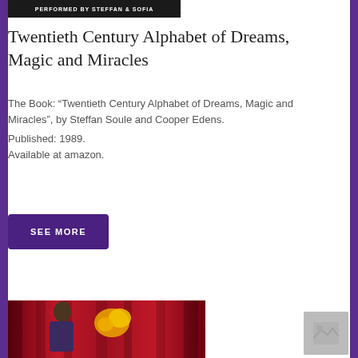[Figure (photo): Dark banner image with white uppercase text 'PERFORMED BY STEFFAN & SOFIA']
Twentieth Century Alphabet of Dreams, Magic and Miracles
The Book: “Twentieth Century Alphabet of Dreams, Magic and Miracles”, by Steffan Soule and Cooper Edens.
Published: 1989.
Available at amazon.
SEE MORE
[Figure (photo): Magician performing on stage with red curtain backdrop, holding flaming object]
[Figure (photo): Small thumbnail placeholder image]